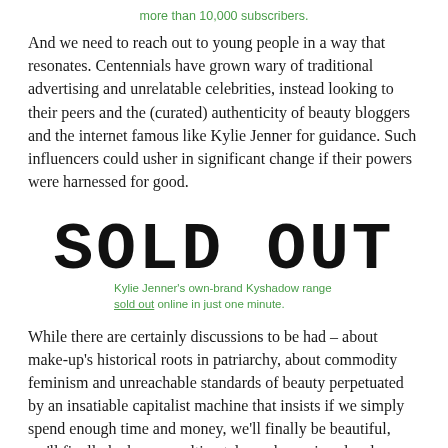more than 10,000 subscribers.
And we need to reach out to young people in a way that resonates. Centennials have grown wary of traditional advertising and unrelatable celebrities, instead looking to their peers and the (curated) authenticity of beauty bloggers and the internet famous like Kylie Jenner for guidance. Such influencers could usher in significant change if their powers were harnessed for good.
[Figure (other): Handwritten-style large text reading SOLD OUT]
Kylie Jenner's own-brand Kyshadow range sold out online in just one minute.
While there are certainly discussions to be had – about make-up's historical roots in patriarchy, about commodity feminism and unreachable standards of beauty perpetuated by an insatiable capitalist machine that insists if we simply spend enough time and money, we'll finally be beautiful, we'll finally be happy – ultimately, make-up is a deeply personal pursuit and we should not lecture